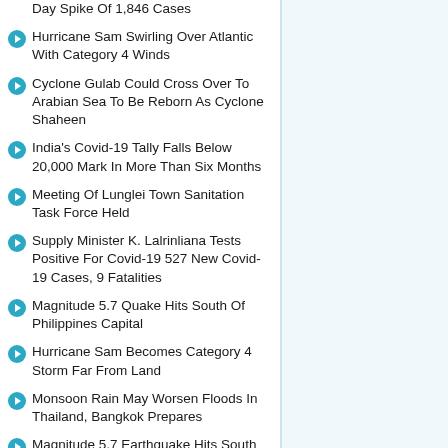Day Spike Of 1,846 Cases
Hurricane Sam Swirling Over Atlantic With Category 4 Winds
Cyclone Gulab Could Cross Over To Arabian Sea To Be Reborn As Cyclone Shaheen
India's Covid-19 Tally Falls Below 20,000 Mark In More Than Six Months
Meeting Of Lunglei Town Sanitation Task Force Held
Supply Minister K. Lalrinliana Tests Positive For Covid-19 527 New Covid-19 Cases, 9 Fatalities
Magnitude 5.7 Quake Hits South Of Philippines Capital
Hurricane Sam Becomes Category 4 Storm Far From Land
Monsoon Rain May Worsen Floods In Thailand, Bangkok Prepares
Magnitude 5.7 Earthquake Hits South Of Manila In Philippines